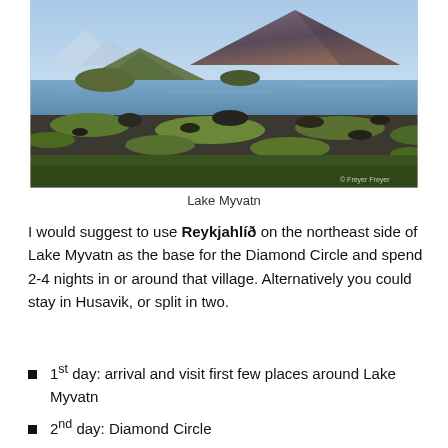[Figure (photo): Landscape photo of Lake Myvatn in Iceland, showing volcanic lava fields in the foreground, calm blue lake water in the middle, and a large volcanic cone mountain in the background under a blue sky. There is a small copyright watermark in the lower right corner.]
Lake Myvatn
I would suggest to use Reykjahlíð on the northeast side of Lake Myvatn as the base for the Diamond Circle and spend 2-4 nights in or around that village. Alternatively you could stay in Husavik, or split in two.
1st day: arrival and visit first few places around Lake Myvatn
2nd day: Diamond Circle